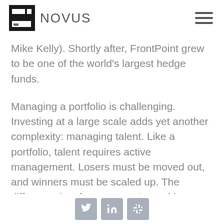SEI NOVUS
Mike Kelly). Shortly after, FrontPoint grew to be one of the world's largest hedge funds.
Managing a portfolio is challenging. Investing at a large scale adds yet another complexity: managing talent. Like a portfolio, talent requires active management. Losers must be moved out, and winners must be scaled up. The difference is, of course, you're making these decisions about people, not just securities, and that raises the emotional